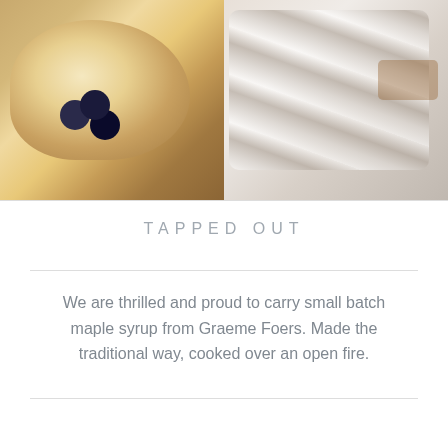[Figure (photo): Two food photos side by side: left shows a scoop of ice cream with blueberries on a wooden board, right shows powdered/sugared baked goods close-up]
TAPPED OUT
We are thrilled and proud to carry small batch maple syrup from Graeme Foers. Made the traditional way, cooked over an open fire.
[Figure (photo): Two photos partially visible at bottom of page: left appears to show a dark scene with vertical elements, right shows a warm brown toned image]